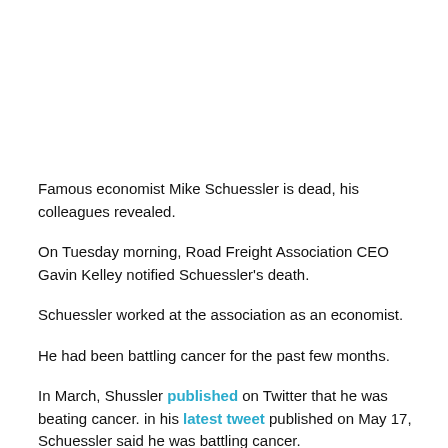Famous economist Mike Schuessler is dead, his colleagues revealed.
On Tuesday morning, Road Freight Association CEO Gavin Kelley notified Schuessler's death.
Schuessler worked at the association as an economist.
He had been battling cancer for the past few months.
In March, Shussler published on Twitter that he was beating cancer. in his latest tweet published on May 17, Schuessler said he was battling cancer.
But the association was around on the sideline in the next months.